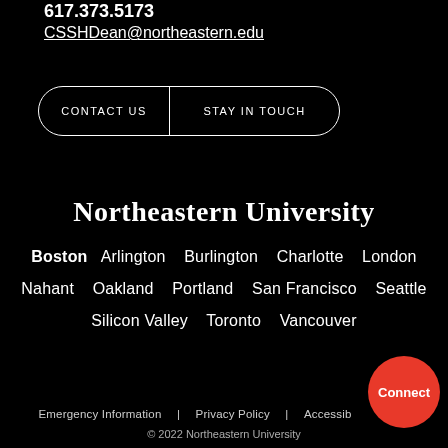617.373.5173
CSSHDean@northeastern.edu
CONTACT US
STAY IN TOUCH
Northeastern University
Boston   Arlington   Burlington   Charlotte   London   Nahant   Oakland   Portland   San Francisco   Seattle   Silicon Valley   Toronto   Vancouver
Emergency Information  |  Privacy Policy  |  Accessibility
© 2022 Northeastern University